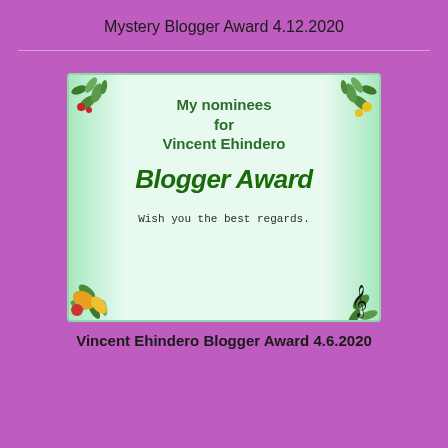Mystery Blogger Award 4.12.2020
[Figure (illustration): Award card with floral border decorations on a mint green background. Text reads: My nominees for Vincent Ehindero Blogger Award. Wish you the best regards. Musical note symbol in bottom right corner.]
Vincent Ehindero Blogger Award 4.6.2020